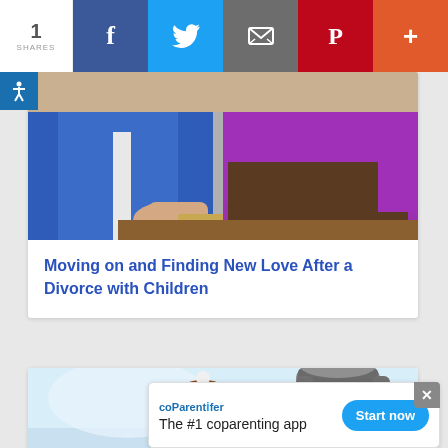1 SHARES | Facebook | Twitter | Email | Pinterest | More
[Figure (photo): Couple sitting at table, man in blue jacket, woman in purple/magenta top]
Moving on and Finding New Love After a Divorce with Children
[Figure (photo): Smiling woman and child in winter hats outdoors in snow]
coParentifer - The #1 coparenting app - Start now